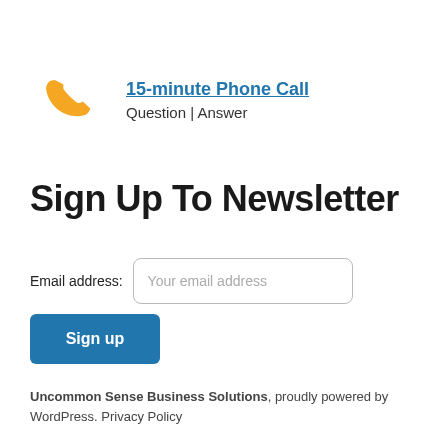[Figure (illustration): Orange telephone handset icon]
15-minute Phone Call
Question | Answer
Sign Up To Newsletter
Email address: [Your email address input field]
Sign up [button]
Uncommon Sense Business Solutions, proudly powered by WordPress. Privacy Policy